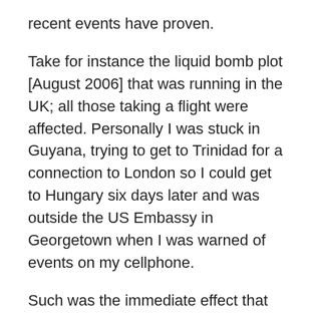recent events have proven.
Take for instance the liquid bomb plot [August 2006] that was running in the UK; all those taking a flight were affected. Personally I was stuck in Guyana, trying to get to Trinidad for a connection to London so I could get to Hungary six days later and was outside the US Embassy in Georgetown when I was warned of events on my cellphone.
Such was the immediate effect that when I attended the Georgetown offices of my carrier [ten minutes later] I found them closed with an armed guard on the door. I was admitted and received a full sitrep but other pax elsewhere were not so lucky and were left to their own